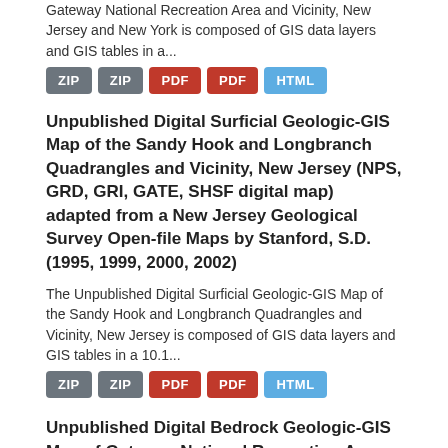Gateway National Recreation Area and Vicinity, New Jersey and New York is composed of GIS data layers and GIS tables in a...
ZIP ZIP PDF PDF HTML
Unpublished Digital Surficial Geologic-GIS Map of the Sandy Hook and Longbranch Quadrangles and Vicinity, New Jersey (NPS, GRD, GRI, GATE, SHSF digital map) adapted from a New Jersey Geological Survey Open-file Maps by Stanford, S.D. (1995, 1999, 2000, 2002)
The Unpublished Digital Surficial Geologic-GIS Map of the Sandy Hook and Longbranch Quadrangles and Vicinity, New Jersey is composed of GIS data layers and GIS tables in a 10.1...
ZIP ZIP PDF PDF HTML
Unpublished Digital Bedrock Geologic-GIS Map of Gateway National Recreation Area and Vicinity, New Jersey and New York (NPS, GRD...